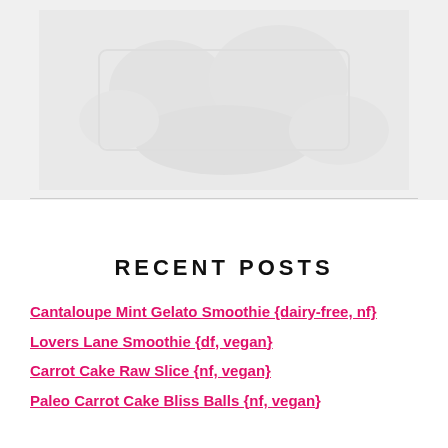[Figure (photo): Faded/watermarked food or recipe photo in the upper portion of the page]
RECENT POSTS
Cantaloupe Mint Gelato Smoothie {dairy-free, nf}
Lovers Lane Smoothie {df, vegan}
Carrot Cake Raw Slice {nf, vegan}
Paleo Carrot Cake Bliss Balls {nf, vegan}